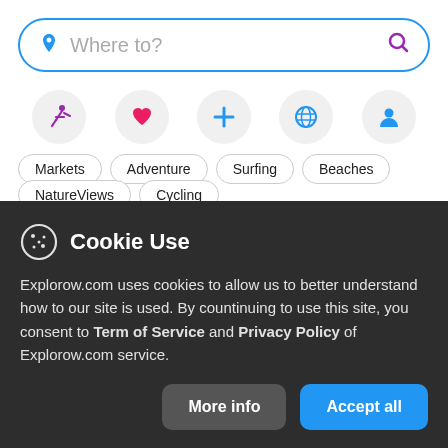[Figure (screenshot): Search bar with location pin icon and placeholder text 'Where to?' and a purple search/magnifying glass icon on the right, with a blue border]
[Figure (infographic): Row of circular icon buttons: running figure (purple), heart (red/pink), plus sign (blue), globe (blue), person/profile (blue)]
Markets
Adventure
Surfing
Beaches
NatureViews
Cycling
Cookie Use
Explorow.com uses cookies to allow us to better understand how to our site is used. By countinuing to use this site, you consent to Term of Service and Privacy Policy of Explorow.com service.